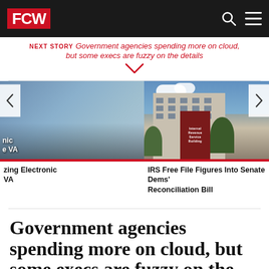FCW
NEXT STORY Government agencies spending more on cloud, but some execs are fuzzy on the details
[Figure (photo): Carousel of three news article thumbnails: (1) partial left card showing electronic VA article, (2) center card showing IRS building with sign, (3) partial right card showing US flag and podium]
IRS Free File Figures Into Senate Dems' Reconciliation Bill
Senate Appropriat... To TMF
Government agencies spending more on cloud, but some execs are fuzzy on the details